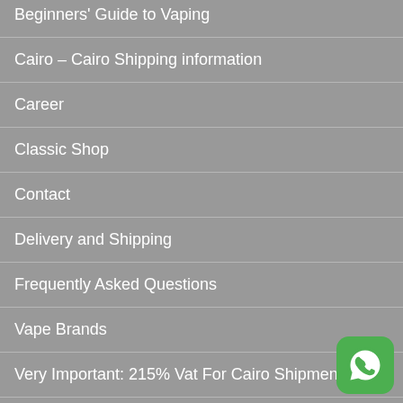Beginners' Guide to Vaping
Cairo – Cairo Shipping information
Career
Classic Shop
Contact
Delivery and Shipping
Frequently Asked Questions
Vape Brands
Very Important: 215% Vat For Cairo Shipments
Weekly Promotions
SOCIAL
[Figure (logo): WhatsApp green icon button in bottom right corner]